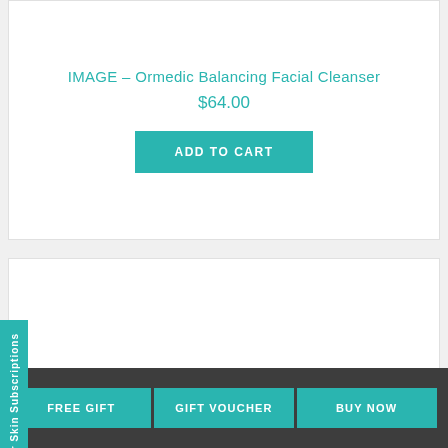IMAGE – Ormedic Balancing Facial Cleanser
$64.00
ADD TO CART
for Skin Subscriptions
FREE GIFT
GIFT VOUCHER
BUY NOW